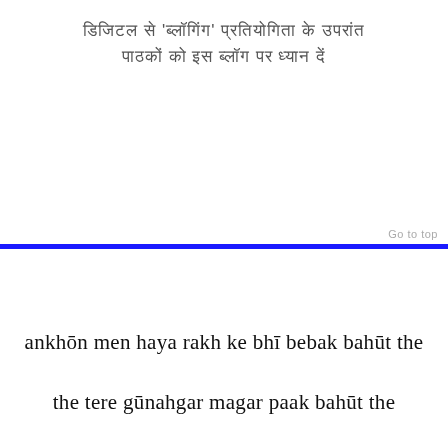डिजिटल से 'ब्लॉगिंग' प्रतियोगिता के उपरांत पाठकों को इस ब्लॉग पर ध्यान दें
Go to top
ankhōn men haya rakh ke bhī bebak bahūt the
the tere gūnahgar magar paak bahūt the